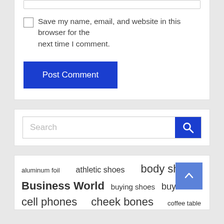Save my name, email, and website in this browser for the next time I comment.
Post Comment
Search
aluminum foil   athletic shoes   body shape   Business World   buying shoes   buy shoes   cell phones   cheek bones   coffee table